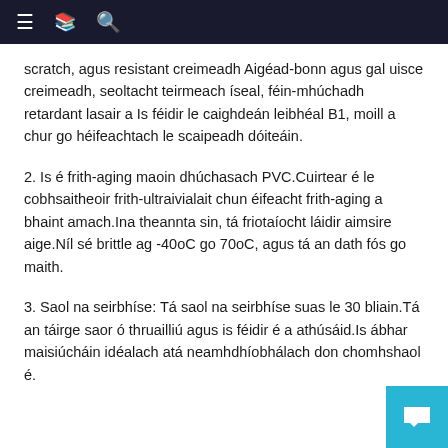≡ 📖 🔍
scratch, agus resistant creimeadh Aigéad-bonn agus gal uisce creimeadh, seoltacht teirmeach íseal, féin-mhúchadh retardant lasair a Is féidir le caighdeán leibhéal B1, moill a chur go héifeachtach le scaipeadh dóiteáin.
2. Is é frith-aging maoin dhúchasach PVC.Cuirtear é le cobhsaitheoir frith-ultraivialait chun éifeacht frith-aging a bhaint amach.Ina theannta sin, tá friotaíocht láidir aimsire aige.Níl sé brittle ag -40oC go 70oC, agus tá an dath fós go maith.
3. Saol na seirbhíse: Tá saol na seirbhíse suas le 30 bliain.Tá an táirge saor ó thruailliú agus is féidir é a athúsáid.Is ábhar maisiúcháin idéalach atá neamhdhíobhálach don chomhshaol é.